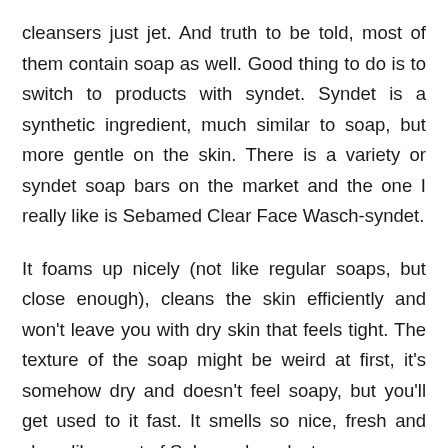cleansers just jet. And truth to be told, most of them contain soap as well. Good thing to do is to switch to products with syndet. Syndet is a synthetic ingredient, much similar to soap, but more gentle on the skin. There is a variety or syndet soap bars on the market and the one I really like is Sebamed Clear Face Wasch-syndet.
It foams up nicely (not like regular soaps, but close enough), cleans the skin efficiently and won't leave you with dry skin that feels tight. The texture of the soap might be weird at first, it's somehow dry and doesn't feel soapy, but you'll get used to it fast. It smells so nice, fresh and clean like most of Sebamed products.
Have you tried any products with syndet? What do you think